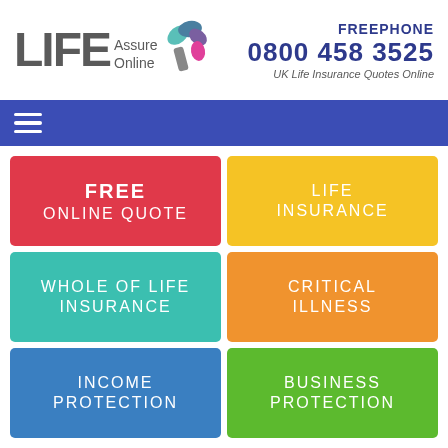[Figure (logo): Life Assure Online logo with pinwheel graphic]
FREEPHONE
0800 458 3525
UK Life Insurance Quotes Online
[Figure (infographic): Navigation bar with hamburger menu icon]
FREE
ONLINE QUOTE
LIFE
INSURANCE
WHOLE OF LIFE
INSURANCE
CRITICAL
ILLNESS
INCOME
PROTECTION
BUSINESS
PROTECTION